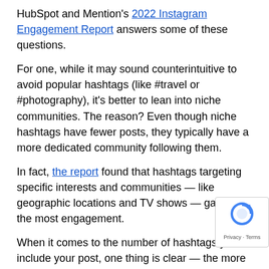HubSpot and Mention's 2022 Instagram Engagement Report answers some of these questions.
For one, while it may sound counterintuitive to avoid popular hashtags (like #travel or #photography), it's better to lean into niche communities. The reason? Even though niche hashtags have fewer posts, they typically have a more dedicated community following them.
In fact, the report found that hashtags targeting specific interests and communities — like geographic locations and TV shows — garnered the most engagement.
When it comes to the number of hashtags you include your post, one thing is clear — the more the better. The report finds that using many hashtags doesn't seem to harm post performance. But a word of caution here — always keep your hashtags relevant to your niche. Otherwise, you may reach the wrong audience in an effort to increase engagement.
2. Securing budget for Influencer Marketing